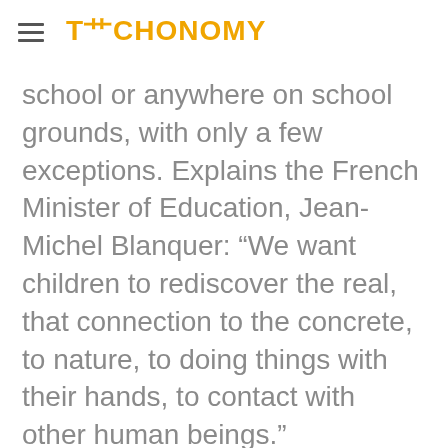TECHONOMY
school or anywhere on school grounds, with only a few exceptions. Explains the French Minister of Education, Jean-Michel Blanquer: “We want children to rediscover the real, that connection to the concrete, to nature, to doing things with their hands, to contact with other human beings.”